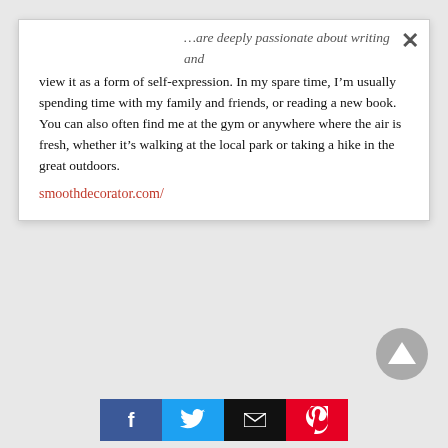…are deeply passionate about writing and view it as a form of self-expression. In my spare time, I'm usually spending time with my family and friends, or reading a new book. You can also often find me at the gym or anywhere where the air is fresh, whether it's walking at the local park or taking a hike in the great outdoors.
smoothdecorator.com/
[Figure (other): Gray circular scroll-to-top button with an upward-pointing triangle]
[Figure (other): Social sharing bar with Facebook (blue), Twitter (light blue), Email (black), and Pinterest (red) buttons]